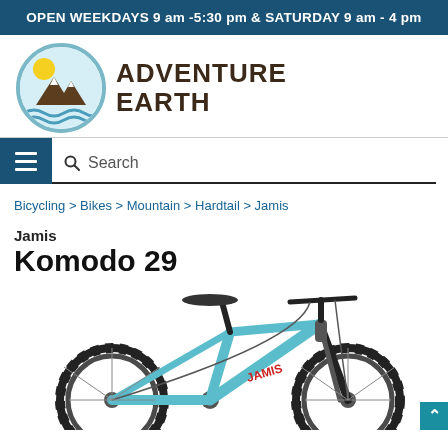OPEN WEEKDAYS 9 am -5:30 pm & SATURDAY 9 am - 4 pm
[Figure (logo): Adventure Earth outdoor shop logo with circular emblem showing mountains, sun, and water waves, next to bold text reading ADVENTURE EARTH]
Search
Bicycling > Bikes > Mountain > Hardtail > Jamis
Jamis Komodo 29
[Figure (photo): Jamis Komodo 29 mountain bike in light blue/teal color with red decals, 29-inch wheels with knobby tires, hardtail mountain bike frame, shown on white background]